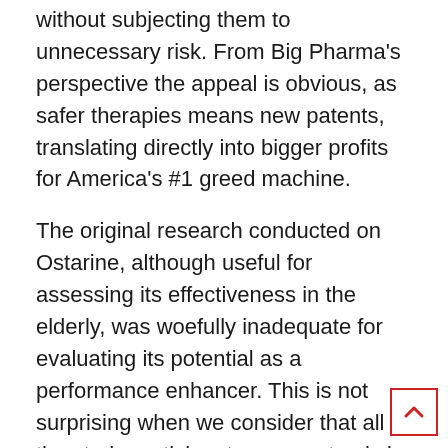without subjecting them to unnecessary risk. From Big Pharma's perspective the appeal is obvious, as safer therapies means new patents, translating directly into bigger profits for America's #1 greed machine.
The original research conducted on Ostarine, although useful for assessing its effectiveness in the elderly, was woefully inadequate for evaluating its potential as a performance enhancer. This is not surprising when we consider that all of the study participants were not only in their last years of life, but were only prescribed 3 mg/day and did no weight training whatsoever. Under these circumstances, it is difficult, if not impossible to determine how well Ostarine might work when utilized at higher dosages in weight training bodybuilders. Fortunately, with an abundance of anecdotal evidence to refer to, we no longer have to rely on such limited studies.